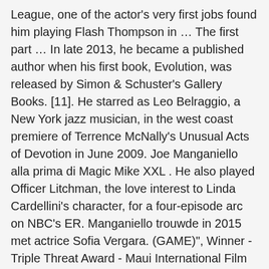League, one of the actor's very first jobs found him playing Flash Thompson in … The first part … In late 2013, he became a published author when his first book, Evolution, was released by Simon & Schuster's Gallery Books. [11]. He starred as Leo Belraggio, a New York jazz musician, in the west coast premiere of Terrence McNally's Unusual Acts of Devotion in June 2009. Joe Manganiello alla prima di Magic Mike XXL . He also played Officer Litchman, the love interest to Linda Cardellini's character, for a four-episode arc on NBC's ER. Manganiello trouwde in 2015 met actrice Sofia Vergara. (GAME)", Winner - Triple Threat Award - Maui International Film Festival, Triple Threat Award (Directing, Producing, Acting). Narrator - Sports Program One-Time Special. This page was last edited on 29 November 2020, at 17:23. See more ideas about joe manganiello, joes, sexy men. Due to scheduling problems with True Blood, he was forced out of the running in the final stage. Manganiello is a fan of the Pittsburgh Steelers and the Wests Tigers. Joe Manganiello dance in Magic Mike XXL. Entertainment